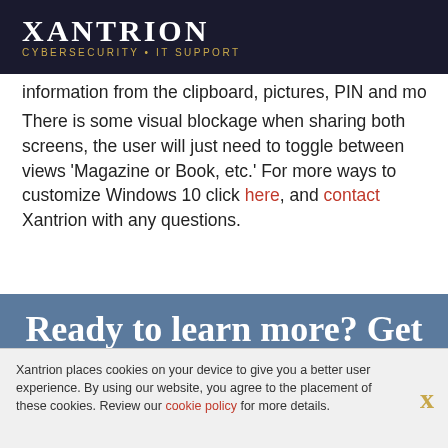XANTRION CYBERSECURITY • IT SUPPORT
information from the clipboard, pictures, PIN and more. There is some visual blockage when sharing both screens, the user will just need to toggle between views 'Magazine or Book, etc.' For more ways to customize Windows 10 click here, and contact Xantrion with any questions.
Ready to learn more? Get the latest Xantrion news
Xantrion places cookies on your device to give you a better user experience. By using our website, you agree to the placement of these cookies. Review our cookie policy for more details.